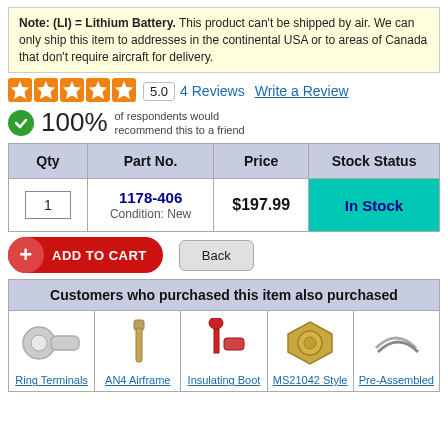Note: (LI) = Lithium Battery. This product can't be shipped by air. We can only ship this item to addresses in the continental USA or to areas of Canada that don't require aircraft for delivery.
5.0  4 Reviews  Write a Review
100% of respondents would recommend this to a friend
| Qty | Part No. | Price | Stock Status |
| --- | --- | --- | --- |
| 1 | 1178-406
Condition: New | $197.99 | In Stock |
+ ADD TO CART   Back
Customers who purchased this item also purchased
[Figure (photo): Ring terminal product photo]
[Figure (photo): AN4 Airframe bolt product photo]
[Figure (photo): Insulating Boot product photo]
[Figure (photo): MS21042 Style nut product photo]
[Figure (photo): Pre-Assembled product photo]